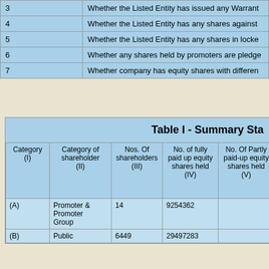|  |  |
| --- | --- |
| 3 | Whether the Listed Entity has issued any Warrant... |
| 4 | Whether the Listed Entity has any shares against ... |
| 5 | Whether the Listed Entity has any shares in locke... |
| 6 | Whether any shares held by promoters are pledge... |
| 7 | Whether company has equity shares with differen... |
Table I - Summary Sta...
| Category (I) | Category of shareholder (II) | Nos. Of shareholders (III) | No. of fully paid up equity shares held (IV) | No. Of Partly paid-up equity shares held (V) | No. sha... un... De... Re... (V... |
| --- | --- | --- | --- | --- | --- |
| (A) | Promoter & Promoter Group | 14 | 9254362 |  |  |
| (B) | Public | 6449 | 29497283 |  |  |